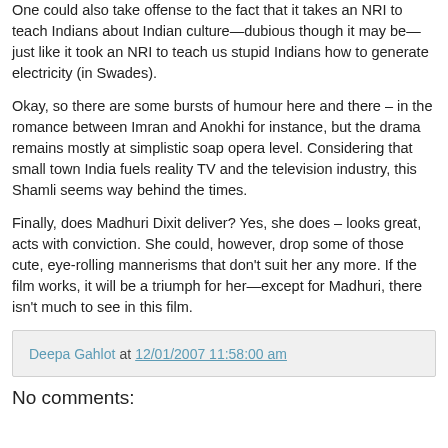One could also take offense to the fact that it takes an NRI to teach Indians about Indian culture—dubious though it may be—just like it took an NRI to teach us stupid Indians how to generate electricity (in Swades).
Okay, so there are some bursts of humour here and there – in the romance between Imran and Anokhi for instance, but the drama remains mostly at simplistic soap opera level. Considering that small town India fuels reality TV and the television industry, this Shamli seems way behind the times.
Finally, does Madhuri Dixit deliver? Yes, she does – looks great, acts with conviction. She could, however, drop some of those cute, eye-rolling mannerisms that don't suit her any more. If the film works, it will be a triumph for her—except for Madhuri, there isn't much to see in this film.
Deepa Gahlot at 12/01/2007 11:58:00 am
No comments: